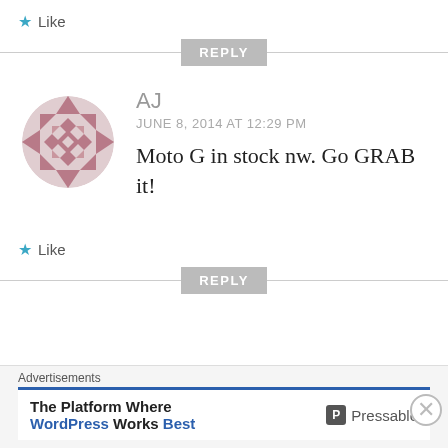★ Like
REPLY
[Figure (illustration): Decorative geometric avatar with diamond/triangle pattern in mauve/pink tones, circular shape]
AJ
JUNE 8, 2014 AT 12:29 PM
Moto G in stock nw. Go GRAB it!
★ Like
REPLY
Advertisements
The Platform Where WordPress Works Best   Pressable